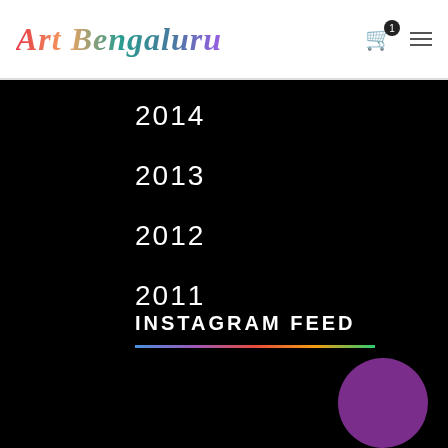Art Bengaluru
2014
2013
2012
2011
INSTAGRAM FEED